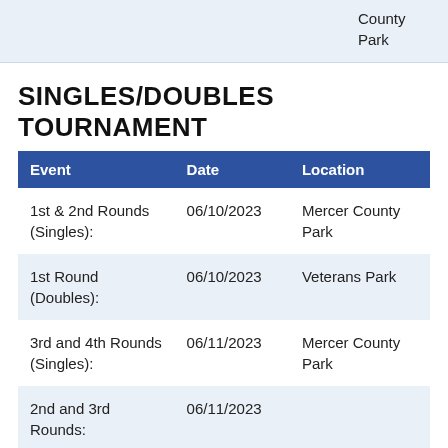| Event | Date | Location |
| --- | --- | --- |
| 1st & 2nd Rounds (Singles): | 06/10/2023 | Mercer County Park |
| 1st Round (Doubles): | 06/10/2023 | Veterans Park |
| 3rd and 4th Rounds (Singles): | 06/11/2023 | Mercer County Park |
| 2nd and 3rd Rounds: | 06/11/2023 | ... |